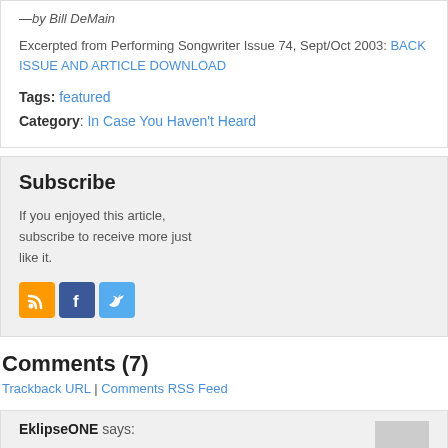—by Bill DeMain
Excerpted from Performing Songwriter Issue 74, Sept/Oct 2003: BACK ISSUE AND ARTICLE DOWNLOAD
Tags: featured
Category: In Case You Haven't Heard
Subscribe
If you enjoyed this article, subscribe to receive more just like it.
[Figure (infographic): RSS, Facebook, and Twitter social media icons]
Comments (7)
Trackback URL | Comments RSS Feed
EklipseONE says: